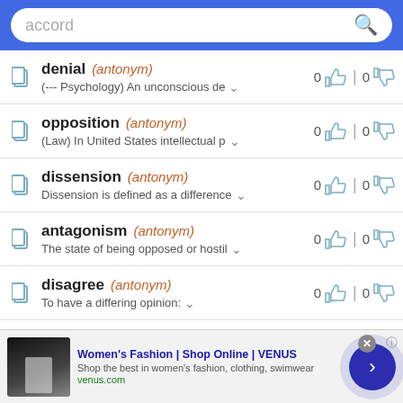[Figure (screenshot): Search bar with text 'accord' and magnifying glass icon on blue background]
denial (antonym) — (--- Psychology) An unconscious de...
opposition (antonym) — (Law) In United States intellectual p...
dissension (antonym) — Dissension is defined as a difference...
antagonism (antonym) — The state of being opposed or hostil...
disagree (antonym) — To have a differing opinion:
[Figure (screenshot): Advertisement banner: Women's Fashion | Shop Online | VENUS — Shop the best in women's fashion, clothing, swimwear — venus.com]